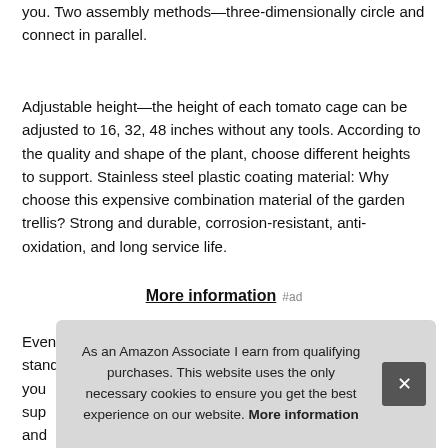you. Two assembly methods—three-dimensionally circle and connect in parallel.
Adjustable height—the height of each tomato cage can be adjusted to 16, 32, 48 inches without any tools. According to the quality and shape of the plant, choose different heights to support. Stainless steel plastic coating material: Why choose this expensive combination material of the garden trellis? Strong and durable, corrosion-resistant, anti-oxidation, and long service life.
More information #ad
Even after wind and rain, the trellis climbing plants still stands in y... your... sup... and... warranty.
As an Amazon Associate I earn from qualifying purchases. This website uses the only necessary cookies to ensure you get the best experience on our website. More information